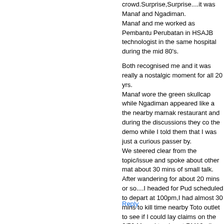crowd.Surprise,Surprise....it was Manaf and Ngadiman. Manaf and me worked as Pembantu Perubatan in HSAJB technologist in the same hospital during the mid 80's.

Both recognised me and it was really a nostalgic moment for all 20 yrs. Manaf wore the green skullcap while Ngadiman appeared like a the nearby mamak restaurant and during the discussions they co the demo while I told them that I was just a curious passer by. We steered clear from the topic/issue and spoke about other mat about 30 mins of small talk. After wandering for about 20 mins or so....I headed for Pud scheduled to depart at 100pm,I had almost 30 mins to kill time nearby Toto outlet to see if I could lay claims on the 6/52 Mega j to almost RM12mil. Surprise,surprise.I bumped into Manaf and Ngadiman again in the without his skullcap and Ngadiman was minus his long robes.

Really, it took the shit out of me Rocky Bro !!!!!!!

BTW,My predictions for the jackpot was hopelessly wrong and I lo

BR
RastamanJB.
Reply